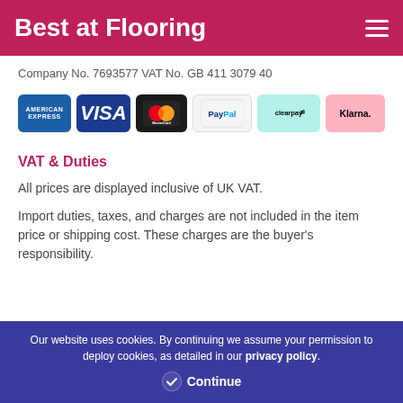Best at Flooring
Company No. 7693577 VAT No. GB 411 3079 40
[Figure (logo): Payment method icons: American Express, Visa, MasterCard, PayPal, Clearpay, Klarna]
VAT & Duties
All prices are displayed inclusive of UK VAT.
Import duties, taxes, and charges are not included in the item price or shipping cost. These charges are the buyer's responsibility.
Our website uses cookies. By continuing we assume your permission to deploy cookies, as detailed in our privacy policy. Continue